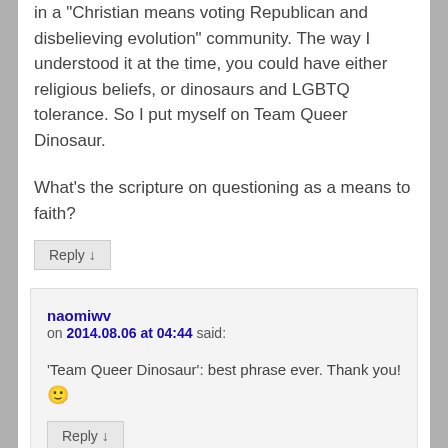in a "Christian means voting Republican and disbelieving evolution" community. The way I understood it at the time, you could have either religious beliefs, or dinosaurs and LGBTQ tolerance. So I put myself on Team Queer Dinosaur.
What's the scripture on questioning as a means to faith?
Reply ↓
naomiwv on 2014.08.06 at 04:44 said:
'Team Queer Dinosaur': best phrase ever. Thank you! 🙂
Reply ↓
herr_flunke